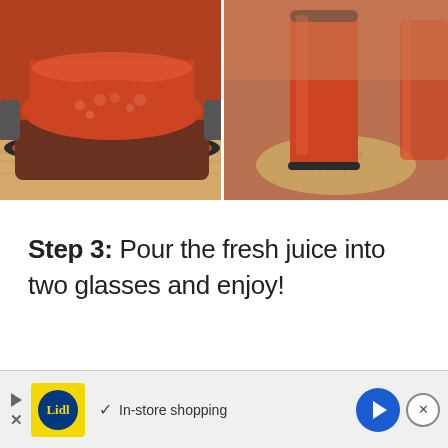[Figure (photo): Two side-by-side photos: left shows tomato/red juice in a dark saucepan on a wooden surface; right shows a tall glass of red/orange juice on a woven cork coaster with another glass in background]
Step 3: Pour the fresh juice into two glasses and enjoy!
[Figure (photo): Bottom portion of a photo showing a wooden surface with a striped straw]
[Figure (infographic): Advertisement banner: Lidl logo, checkmark with text 'In-store shopping', blue arrow button, close X button]